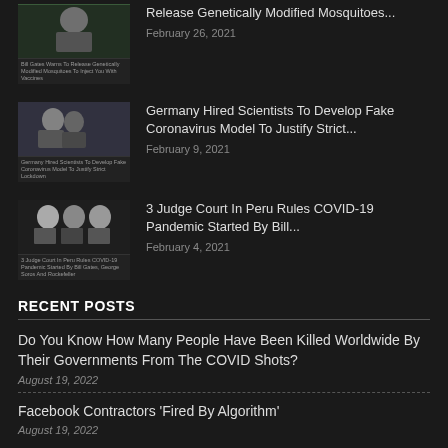Release Genetically Modified Mosquitoes...
February 26, 2021
Germany Hired Scientists To Develop Fake Coronavirus Model To Justify Strict...
February 9, 2021
3 Judge Court In Peru Rules COVID-19 Pandemic Started By Bill...
February 4, 2021
RECENT POSTS
Do You Know How Many People Have Been Killed Worldwide By Their Governments From The COVID Shots?
August 19, 2022
Facebook Contractors 'Fired By Algorithm'
August 19, 2022